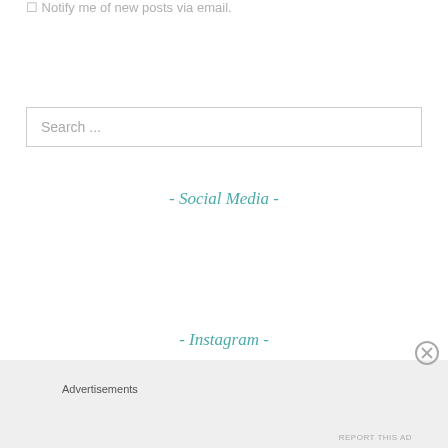Notify me of new posts via email.
Search ...
- Social Media -
- Instagram -
Advertisements
REPORT THIS AD